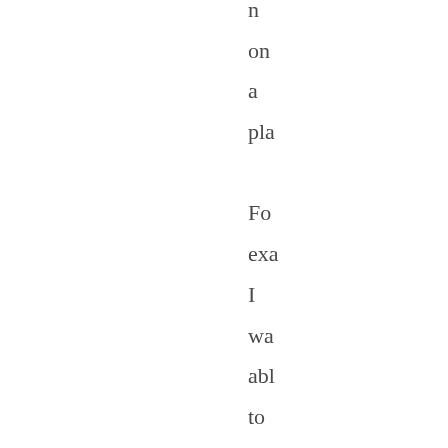n on a pla Fo exa I wa abl to do' an app fro the Ap Sto qui anc